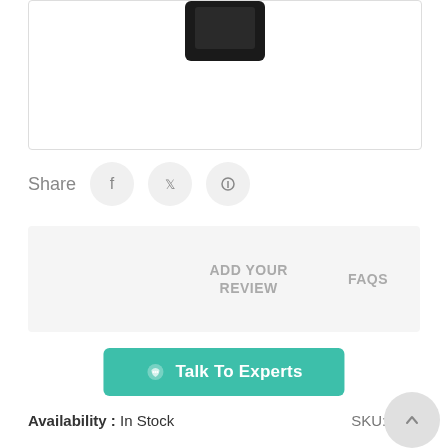[Figure (photo): Product image box showing top portion of a dark-colored product box, partially visible at top of frame]
Share
[Figure (illustration): Social share buttons: Facebook, Twitter, Pinterest icons in circular grey buttons]
ADD YOUR REVIEW    FAQS
Talk To Experts
Availability : In Stock    SKU: [partially obscured]7
Buy Vigora Condom Online Available With Lowest Price In India, USA, And Worldwide Countries With Expe... Read More..